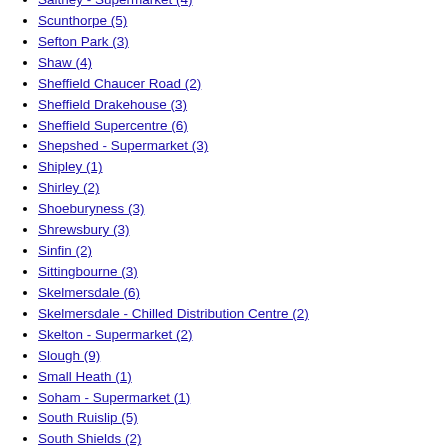Saltney - Supermarket (4)
Scunthorpe (5)
Sefton Park (3)
Shaw (4)
Sheffield Chaucer Road (2)
Sheffield Drakehouse (3)
Sheffield Supercentre (6)
Shepshed - Supermarket (3)
Shipley (1)
Shirley (2)
Shoeburyness (3)
Shrewsbury (3)
Sinfin (2)
Sittingbourne (3)
Skelmersdale (6)
Skelmersdale - Chilled Distribution Centre (2)
Skelton - Supermarket (2)
Slough (9)
Small Heath (1)
Soham - Supermarket (1)
South Ruislip (5)
South Shields (2)
South Woodham Ferrers (4)
Southampton (6)
Southampton West End - Supermarket (1)